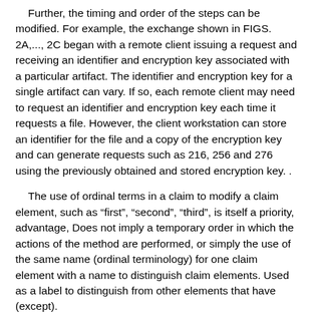Further, the timing and order of the steps can be modified. For example, the exchange shown in FIGS. 2A,..., 2C began with a remote client issuing a request and receiving an identifier and encryption key associated with a particular artifact. The identifier and encryption key for a single artifact can vary. If so, each remote client may need to request an identifier and encryption key each time it requests a file. However, the client workstation can store an identifier for the file and a copy of the encryption key and can generate requests such as 216, 256 and 276 using the previously obtained and stored encryption key. .
The use of ordinal terms in a claim to modify a claim element, such as “first”, “second”, “third”, is itself a priority, advantage, Does not imply a temporary order in which the actions of the method are performed, or simply the use of the same name (ordinal terminology) for one claim element with a name to distinguish claim elements. Used as a label to distinguish from other elements that have (except).
Also, the expressions and terminology used herein are for illustrative purposes and should not be considered limiting.